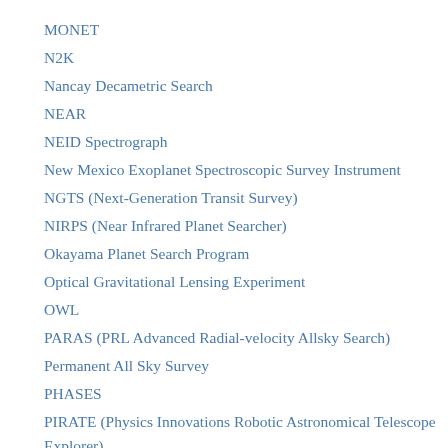MONET
N2K
Nancay Decametric Search
NEAR
NEID Spectrograph
New Mexico Exoplanet Spectroscopic Survey Instrument
NGTS (Next-Generation Transit Survey)
NIRPS (Near Infrared Planet Searcher)
Okayama Planet Search Program
Optical Gravitational Lensing Experiment
OWL
PARAS (PRL Advanced Radial-velocity Allsky Search)
Permanent All Sky Survey
PHASES
PIRATE (Physics Innovations Robotic Astronomical Telescope Explorer)